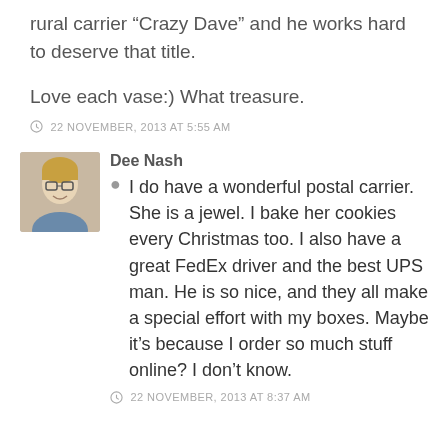rural carrier “Crazy Dave” and he works hard to deserve that title.
Love each vase:) What treasure.
© 22 NOVEMBER, 2013 AT 5:55 AM
Dee Nash
I do have a wonderful postal carrier. She is a jewel. I bake her cookies every Christmas too. I also have a great FedEx driver and the best UPS man. He is so nice, and they all make a special effort with my boxes. Maybe it’s because I order so much stuff online? I don’t know.
© 22 NOVEMBER, 2013 AT 8:37 AM